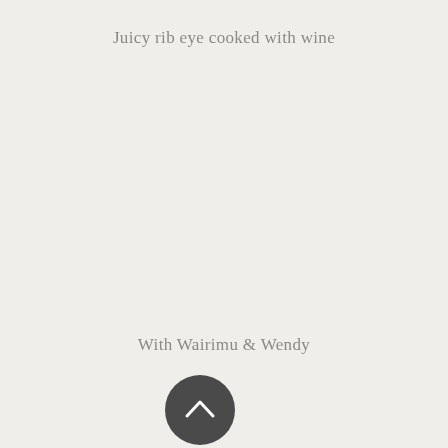Juicy rib eye cooked with wine
With Wairimu & Wendy
[Figure (other): Dark circular button with upward-pointing chevron arrow icon]